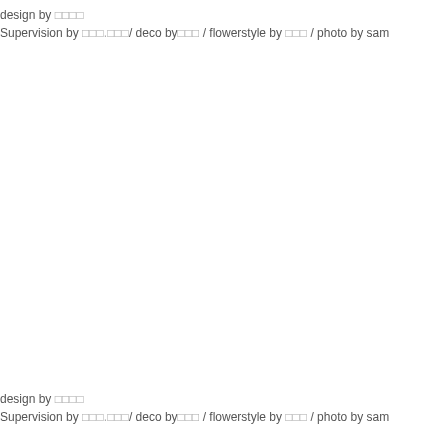design by □□□□
Supervision by □□□.□□□/ deco by□□□ / flowerstyle by □□□ / photo by sam
design by □□□□
Supervision by □□□.□□□/ deco by□□□ / flowerstyle by □□□ / photo by sam